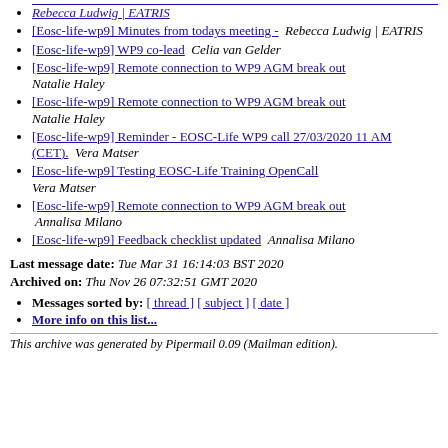[link truncated] Rebecca Ludwig | EATRIS
[Eosc-life-wp9] Minutes from todays meeting - Rebecca Ludwig | EATRIS
[Eosc-life-wp9] WP9 co-lead  Celia van Gelder
[Eosc-life-wp9] Remote connection to WP9 AGM break out  Natalie Haley
[Eosc-life-wp9] Remote connection to WP9 AGM break out  Natalie Haley
[Eosc-life-wp9] Reminder - EOSC-Life WP9 call 27/03/2020 11 AM (CET).  Vera Matser
[Eosc-life-wp9] Testing EOSC-Life Training OpenCall  Vera Matser
[Eosc-life-wp9] Remote connection to WP9 AGM break out  Annalisa Milano
[Eosc-life-wp9] Feedback checklist updated  Annalisa Milano
Last message date: Tue Mar 31 16:14:03 BST 2020
Archived on: Thu Nov 26 07:32:51 GMT 2020
Messages sorted by: [ thread ] [ subject ] [ date ]
More info on this list...
This archive was generated by Pipermail 0.09 (Mailman edition).